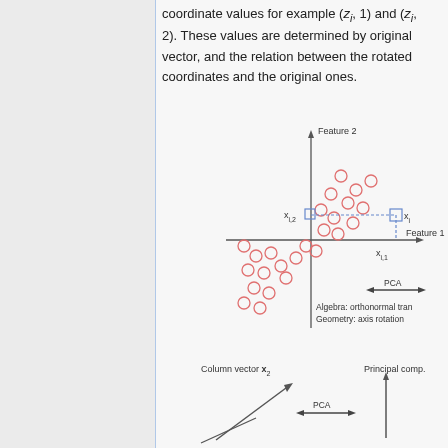coordinate values for example (z_i, 1) and (z_i, 2). These values are determined by original vector, and the relation between the rotated coordinates and the original ones.
[Figure (scatter-plot): Scatter plot showing data points in Feature 1 vs Feature 2 space, with a highlighted point x_i at coordinates (x_{i,1}, x_{i,2}), and a PCA arrow pointing right with labels 'Algebra: orthonormal transformation' and 'Geometry: axis rotation']
[Figure (other): Diagram showing 'Column vector x_2' with an arrow, a PCA double arrow, and 'Principal comp.' with a vertical arrow]